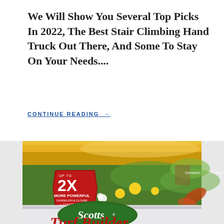We Will Show You Several Top Picks In 2022, The Best Stair Climbing Hand Truck Out There, And Some To Stay On Your Needs....
CONTINUE READING →
[Figure (photo): Scotts Turf Builder product bag featuring a yard scene with dandelions and clover weeds, showing '2X More Powerful Dandelion & Clover Control' badge, with Untreated vs Treated comparison sections visible, large Scotts logo oval in green, and 'Turf Builder' text at bottom in red]